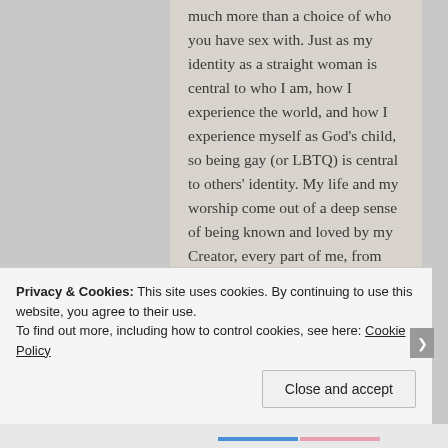much more than a choice of who you have sex with. Just as my identity as a straight woman is central to who I am, how I experience the world, and how I experience myself as God's child, so being gay (or LBTQ) is central to others' identity. My life and my worship come out of a deep sense of being known and loved by my Creator, every part of me, from knowing that the God who created me looks on me and says, "Thou art all fair, my love; there is no spot in thee."
I think one of the biggest places of
Privacy & Cookies: This site uses cookies. By continuing to use this website, you agree to their use.
To find out more, including how to control cookies, see here: Cookie Policy
Close and accept